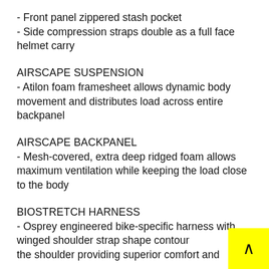- Front panel zippered stash pocket
- Side compression straps double as a full face helmet carry
AIRSCAPE SUSPENSION
- Atilon foam framesheet allows dynamic body movement and distributes load across entire backpanel
AIRSCAPE BACKPANEL
- Mesh-covered, extra deep ridged foam allows maximum ventilation while keeping the load close to the body
BIOSTRETCH HARNESS
- Osprey engineered bike-specific harness with winged shoulder strap shape contour the shoulder providing superior comfort and